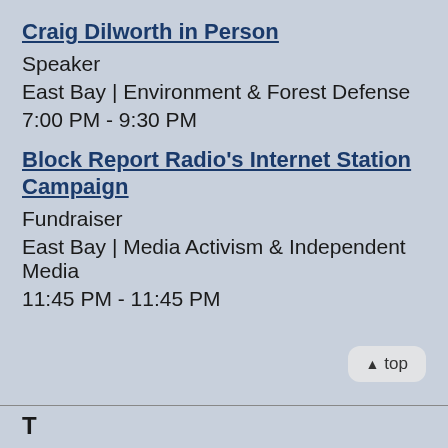Craig Dilworth in Person
Speaker
East Bay | Environment & Forest Defense
7:00 PM - 9:30 PM
Block Report Radio's Internet Station Campaign
Fundraiser
East Bay | Media Activism & Independent Media
11:45 PM - 11:45 PM